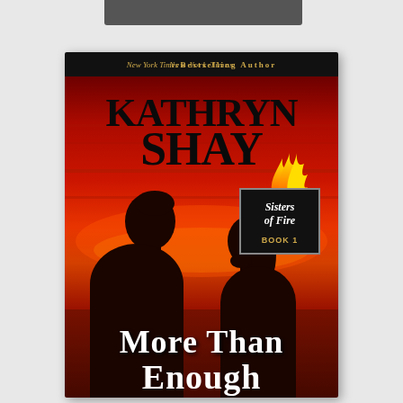[Figure (illustration): Book cover for 'More Than Enough' by Kathryn Shay. The cover shows a black top bar at the very top, then the book cover below featuring: a black banner at top reading 'New York Times Bestselling Author', large bold author name 'KATHRYN SHAY' in black on a red background, a 'Sisters of Fire Book 1' badge with flame illustration in the upper right area, silhouettes of a man and woman facing each other about to kiss against a red sunset background, and the book title 'MORE THAN ENOUGH' in large white text at the bottom.]